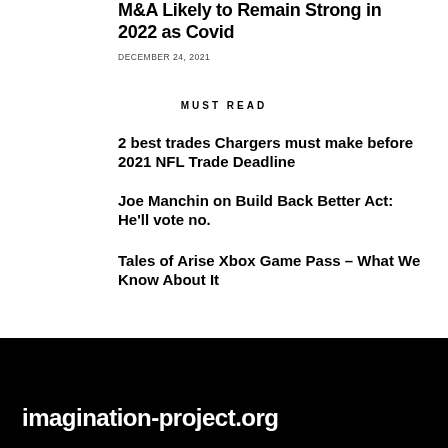M&A Likely to Remain Strong in 2022 as Covid
DECEMBER 24, 2021
MUST READ
2 best trades Chargers must make before 2021 NFL Trade Deadline
Joe Manchin on Build Back Better Act: He'll vote no.
Tales of Arise Xbox Game Pass – What We Know About It
imagination-project.org